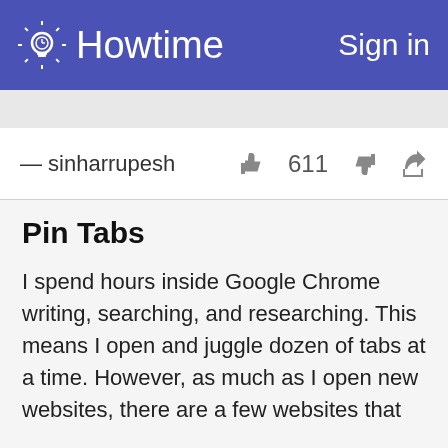Howtime  Sign in
— sinharrupesh  611
Pin Tabs
I spend hours inside Google Chrome writing, searching, and researching. This means I open and juggle dozen of tabs at a time. However, as much as I open new websites, there are a few websites that